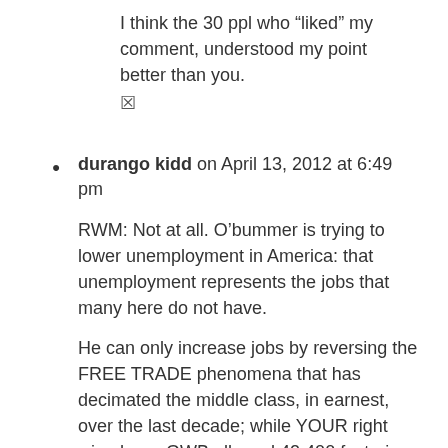I think the 30 ppl who “liked” my comment, understood my point better than you.
☒
durango kidd on April 13, 2012 at 6:49 pm
RWM: Not at all. O’bummer is trying to lower unemployment in America: that unemployment represents the jobs that many here do not have.
He can only increase jobs by reversing the FREE TRADE phenomena that has decimated the middle class, in earnest, over the last decade; while YOUR right wing hero, GWB allowed 42,400 factories and 60 million jobs to be exported offshore while he spent the American treasury into oblivion (read YOUR tax